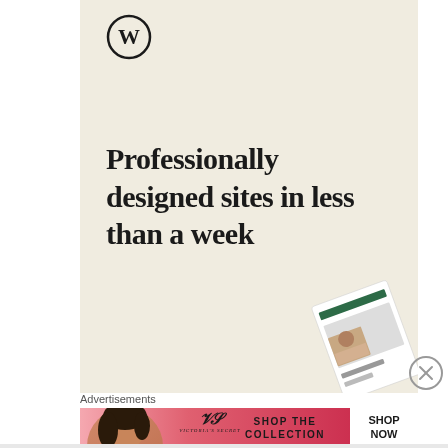[Figure (logo): WordPress circular logo (W in circle) in top left of ad]
Professionally designed sites in less than a week
[Figure (other): Green 'Explore options' call-to-action button]
[Figure (screenshot): Website mockup/preview visible in bottom-right corner of ad]
[Figure (other): Circular X close button on right side]
Advertisements
[Figure (other): Victoria's Secret banner advertisement with model photo, VS logo, 'SHOP THE COLLECTION' text, and 'SHOP NOW' white button]